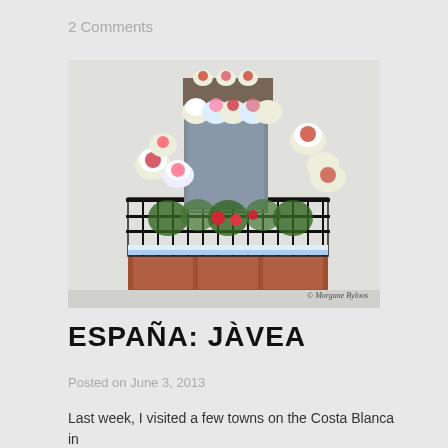2 Comments
[Figure (photo): A Spanish balcony decorated with numerous colorful painted ceramic flower pots containing various flowers and plants, with a wrought iron railing, against a white wall. Watermark reads '© Morgane Byloos']
ESPAÑA: JÀVEA
Posted on June 3, 2013
Last week, I visited a few towns on the Costa Blanca in